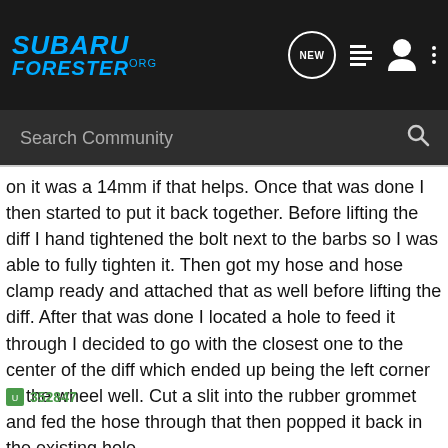SUBARU FORESTER.org
on it was a 14mm if that helps. Once that was done I then started to put it back together. Before lifting the diff I hand tightened the bolt next to the barbs so I was able to fully tighten it. Then got my hose and hose clamp ready and attached that as well before lifting the diff. After that was done I located a hole to feed it through I decided to go with the closest one to the center of the diff which ended up being the left corner of the wheel well. Cut a slit into the rubber grommet and fed the hose through that then popped it back in the existing hole.
352847